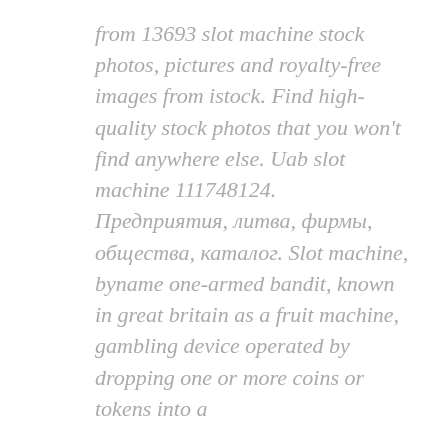from 13693 slot machine stock photos, pictures and royalty-free images from istock. Find high-quality stock photos that you won't find anywhere else. Uab slot machine 111748124. Предприятия, литва, фирмы, общества, каталог. Slot machine, byname one-armed bandit, known in great britain as a fruit machine, gambling device operated by dropping one or more coins or tokens into a
Casino Bonus Codes 2021 ? List Of Exclusive Promo Codes Today! Types of casino promo codes. No Deposit Casino Bonus Codes: These are the tv, slot machine. No Deposit